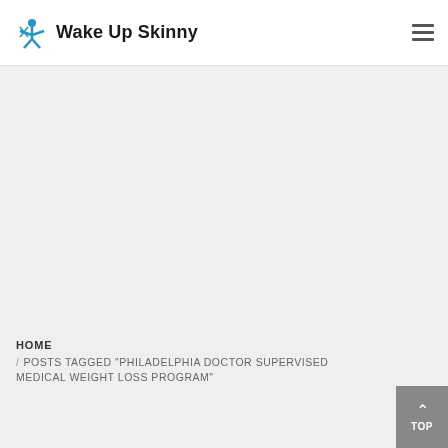Wake Up Skinny
HOME
/ POSTS TAGGED "PHILADELPHIA DOCTOR SUPERVISED MEDICAL WEIGHT LOSS PROGRAM"